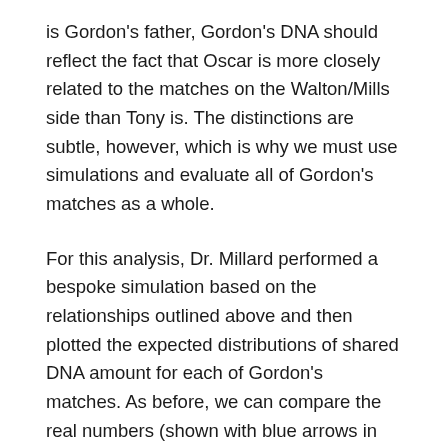is Gordon's father, Gordon's DNA should reflect the fact that Oscar is more closely related to the matches on the Walton/Mills side than Tony is. The distinctions are subtle, however, which is why we must use simulations and evaluate all of Gordon's matches as a whole.
For this analysis, Dr. Millard performed a bespoke simulation based on the relationships outlined above and then plotted the expected distributions of shared DNA amount for each of Gordon's matches. As before, we can compare the real numbers (shown with blue arrows in the figures below) to the expected distributions to get a sense of which scenario is more likely.